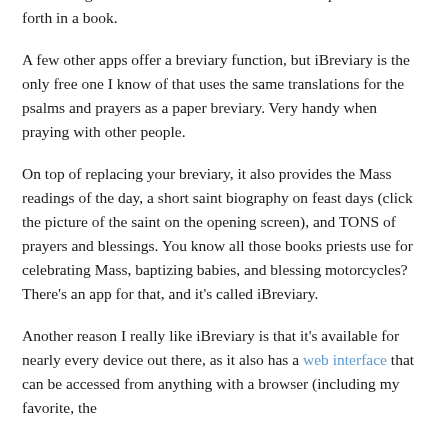with you all the time, it also cues up the prayers for the day, eliminating the need to coordinate ribbons and flip back and forth in a book.
A few other apps offer a breviary function, but iBreviary is the only free one I know of that uses the same translations for the psalms and prayers as a paper breviary. Very handy when praying with other people.
On top of replacing your breviary, it also provides the Mass readings of the day, a short saint biography on feast days (click the picture of the saint on the opening screen), and TONS of prayers and blessings. You know all those books priests use for celebrating Mass, baptizing babies, and blessing motorcycles? There's an app for that, and it's called iBreviary.
Another reason I really like iBreviary is that it's available for nearly every device out there, as it also has a web interface that can be accessed from anything with a browser (including my favorite, the